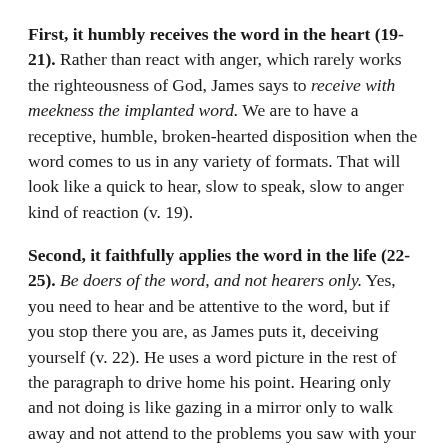First, it humbly receives the word in the heart (19-21). Rather than react with anger, which rarely works the righteousness of God, James says to receive with meekness the implanted word. We are to have a receptive, humble, broken-hearted disposition when the word comes to us in any variety of formats. That will look like a quick to hear, slow to speak, slow to anger kind of reaction (v. 19).
Second, it faithfully applies the word in the life (22-25). Be doers of the word, and not hearers only. Yes, you need to hear and be attentive to the word, but if you stop there you are, as James puts it, deceiving yourself (v. 22). He uses a word picture in the rest of the paragraph to drive home his point. Hearing only and not doing is like gazing in a mirror only to walk away and not attend to the problems you saw with your face in that mirror! On the contrary, those who gaze into